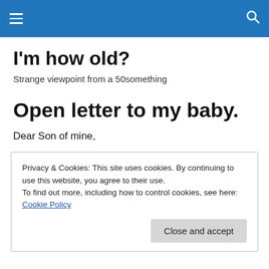≡  🔍
I'm how old?
Strange viewpoint from a 50something
Open letter to my baby.
Dear Son of mine,
Privacy & Cookies: This site uses cookies. By continuing to use this website, you agree to their use.
To find out more, including how to control cookies, see here: Cookie Policy